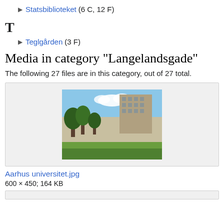▶ Statsbiblioteket (6 C, 12 F)
T
▶ Teglgården (3 F)
Media in category "Langelandsgade"
The following 27 files are in this category, out of 27 total.
[Figure (photo): Photo of Aarhus university building with trees and blue sky]
Aarhus universitet.jpg
600 × 450; 164 KB